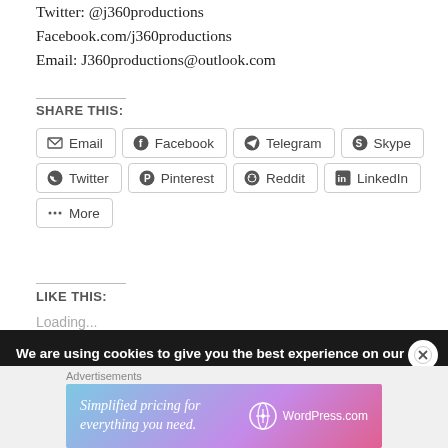Twitter: @j360productions
Facebook.com/j360productions
Email: J360productions@outlook.com
SHARE THIS:
Email | Facebook | Telegram | Skype | Twitter | Pinterest | Reddit | LinkedIn | More
LIKE THIS:
Loading...
We are using cookies to give you the best experience on our website.
You can find out more about which cookies we are using or
Advertisements
[Figure (infographic): WordPress.com advertisement banner: 'Simplified pricing for everything you need.' with WordPress logo]